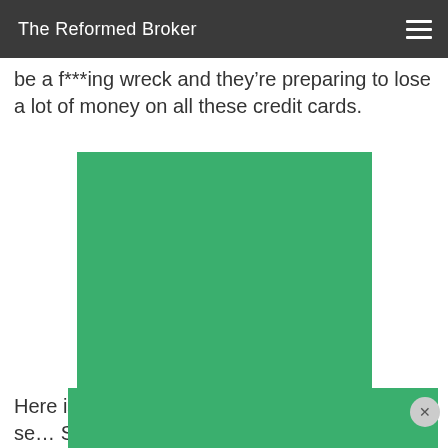The Reformed Broker
be a f***ing wreck and they’re preparing to lose a lot of money on all these credit cards.
[Figure (photo): A solid green rectangle placeholder image, likely an advertisement or embedded chart/image placeholder.]
Here is a chart for credit card data so you can se… S&P